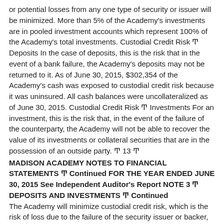or potential losses from any one type of security or issuer will be minimized. More than 5% of the Academy's investments are in pooled investment accounts which represent 100% of the Academy's total investments. Custodial Credit Risk Ͳ Deposits In the case of deposits, this is the risk that in the event of a bank failure, the Academy's deposits may not be returned to it. As of June 30, 2015, $302,354 of the Academy's cash was exposed to custodial credit risk because it was uninsured. All cash balances were uncollateralized as of June 30, 2015. Custodial Credit Risk Ͳ Investments For an investment, this is the risk that, in the event of the failure of the counterparty, the Academy will not be able to recover the value of its investments or collateral securities that are in the possession of an outside party. Ͳ 13 Ͳ
MADISON ACADEMY NOTES TO FINANCIAL STATEMENTS Ͳ Continued FOR THE YEAR ENDED JUNE 30, 2015 See Independent Auditor's Report NOTE 3 Ͳ DEPOSITS AND INVESTMENTS Ͳ Continued
The Academy will minimize custodial credit risk, which is the risk of loss due to the failure of the security issuer or backer, by; limiting investments to the types of securities allowed by law; and preͲqualifying the financial institutions, broker/dealers, intermediaries and advisors with which the Academy will do business. Foreign Currency Risk The Academy is not